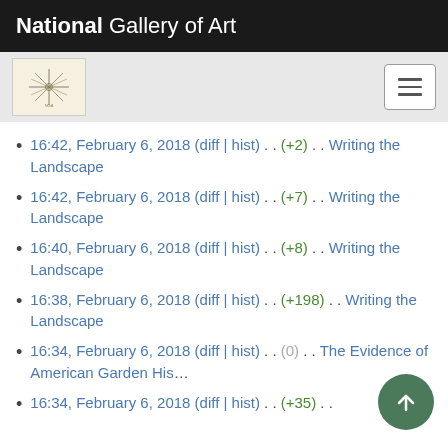National Gallery of Art
[Figure (logo): National Gallery of Art logo with star/compass motif on cream background, with hamburger menu button on right]
16:42, February 6, 2018 (diff | hist) . . (+2) . . Writing the Landscape
16:42, February 6, 2018 (diff | hist) . . (+7) . . Writing the Landscape
16:40, February 6, 2018 (diff | hist) . . (+8) . . Writing the Landscape
16:38, February 6, 2018 (diff | hist) . . (+198) . . Writing the Landscape
16:34, February 6, 2018 (diff | hist) . . (0) . . The Evidence of American Garden His...
16:34, February 6, 2018 (diff | hist) . . (+35) . . The Evidence of American Garden His...